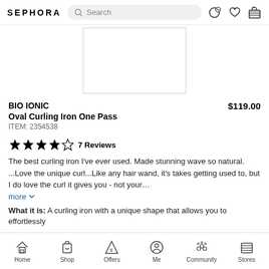SEPHORA — Search bar — icons
[Figure (photo): Product image placeholder, white rectangle with border]
BIO IONIC Oval Curling Iron One Pass $119.00
ITEM: 2354538
★★★★☆ 7 Reviews
The best curling iron I've ever used. Made stunning wave so natural. ...Love the unique curl...Like any hair wand, it's takes getting used to, but I do love the curl it gives you - not your…
more ∨
What it is: A curling iron with a unique shape that allows you to effortlessly
Home  Shop  Offers  Me  Community  Stores